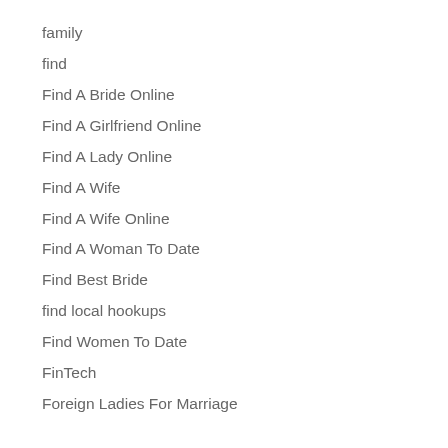family
find
Find A Bride Online
Find A Girlfriend Online
Find A Lady Online
Find A Wife
Find A Wife Online
Find A Woman To Date
Find Best Bride
find local hookups
Find Women To Date
FinTech
Foreign Ladies For Marriage